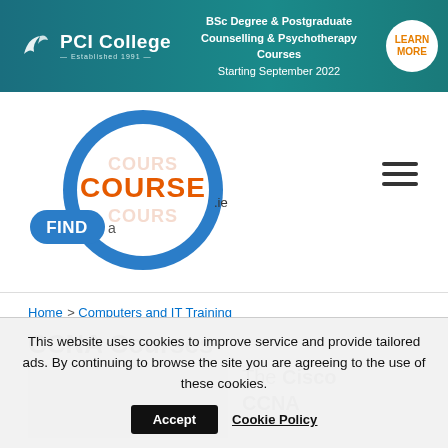[Figure (screenshot): PCI College banner advertisement for BSc Degree & Postgraduate Counselling & Psychotherapy Courses Starting September 2022 with a Learn More button]
[Figure (logo): FindaCourse.ie logo — blue circle with COURSE text in orange and blue, FIND text in blue rounded rectangle]
Home > Computers and IT Training
CCNA Courses
[Figure (photo): Blurred photo of network cables or server equipment]
The Cisco CCNA
This website uses cookies to improve service and provide tailored ads. By continuing to browse the site you are agreeing to the use of these cookies.